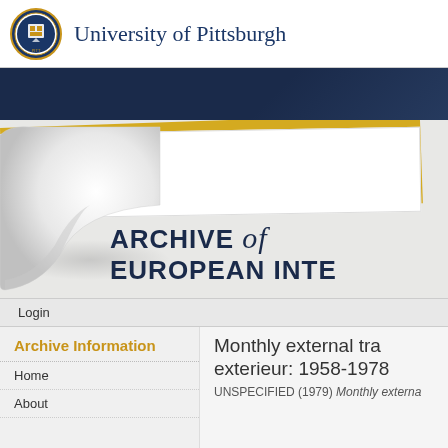[Figure (logo): University of Pittsburgh circular seal/crest logo in gold and blue]
University of Pittsburgh
[Figure (illustration): Dark navy banner with textured background]
[Figure (illustration): Page curl graphic over yellow and white layered pages forming the Archive of European Integration decorative header]
ARCHIVE of EUROPEAN INTE
Login
Archive Information
Home
About
Monthly external tra exterieur: 1958-1978
UNSPECIFIED (1979) Monthly externa